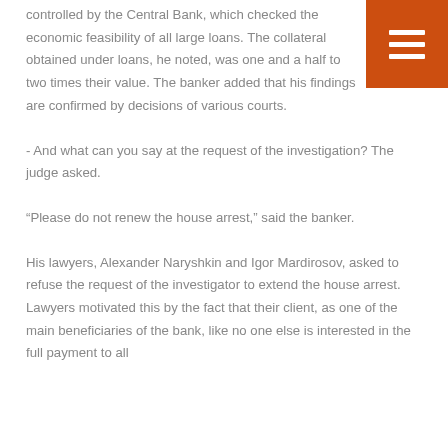controlled by the Central Bank, which checked the economic feasibility of all large loans. The collateral obtained under loans, he noted, was one and a half to two times their value. The banker added that his findings are confirmed by decisions of various courts.
- And what can you say at the request of the investigation? The judge asked.
“Please do not renew the house arrest,” said the banker.
His lawyers, Alexander Naryshkin and Igor Mardirosov, asked to refuse the request of the investigator to extend the house arrest. Lawyers motivated this by the fact that their client, as one of the main beneficiaries of the bank, like no one else is interested in the full payment to all